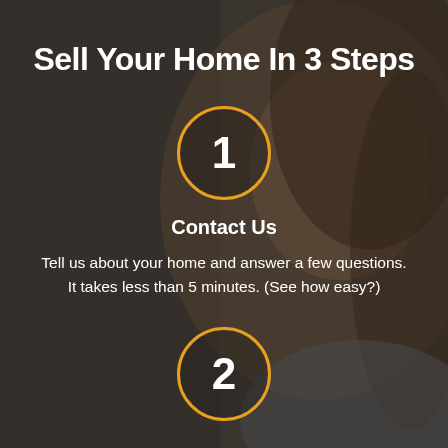[Figure (photo): Background photo of a smiling woman with brown hair, overlaid with a dark semi-transparent color wash in brown/gray tones]
Sell Your Home In 3 Steps
[Figure (infographic): Orange circle with number 1 inside]
Contact Us
Tell us about your home and answer a few questions. It takes less than 5 minutes. (See how easy?)
[Figure (infographic): Orange circle with number 2 inside, partially visible at bottom]